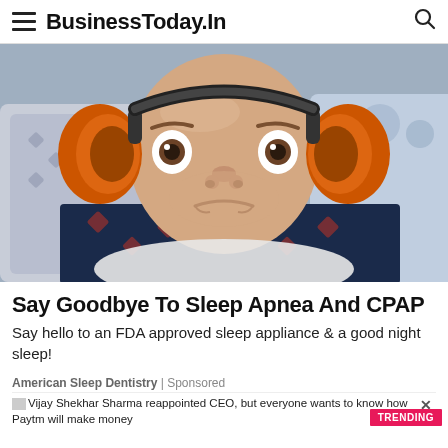BusinessToday.In
[Figure (photo): A man lying in bed wearing large orange ear protection headphones, looking alarmed/wide-eyed, wearing a patterned shirt, with pillows in the background.]
Say Goodbye To Sleep Apnea And CPAP
Say hello to an FDA approved sleep appliance & a good night sleep!
American Sleep Dentistry | Sponsored
Vijay Shekhar Sharma reappointed CEO, but everyone wants to know how Paytm will make money
TRENDING